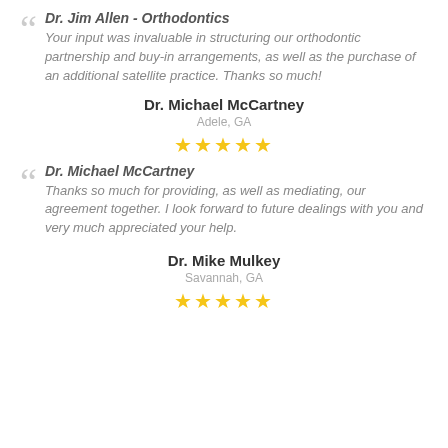Dr. Jim Allen - Orthodontics
Your input was invaluable in structuring our orthodontic partnership and buy-in arrangements, as well as the purchase of an additional satellite practice. Thanks so much!
Dr. Michael McCartney
Adele, GA
★★★★★
Dr. Michael McCartney
Thanks so much for providing, as well as mediating, our agreement together. I look forward to future dealings with you and very much appreciated your help.
Dr. Mike Mulkey
Savannah, GA
★★★★★